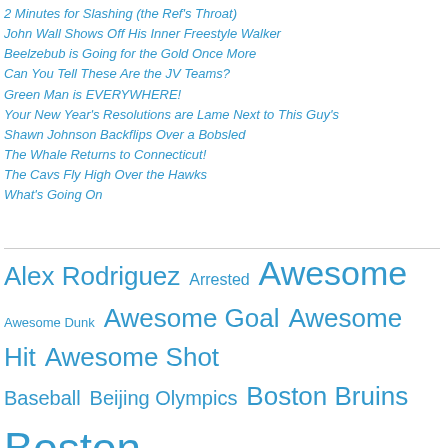2 Minutes for Slashing (the Ref's Throat)
John Wall Shows Off His Inner Freestyle Walker
Beelzebub is Going for the Gold Once More
Can You Tell These Are the JV Teams?
Green Man is EVERYWHERE!
Your New Year's Resolutions are Lame Next to This Guy's
Shawn Johnson Backflips Over a Bobsled
The Whale Returns to Connecticut!
The Cavs Fly High Over the Hawks
What's Going On
Alex Rodriguez Arrested Awesome Awesome Dunk Awesome Goal Awesome Hit Awesome Shot Baseball Beijing Olympics Boston Bruins Boston Celtics Boston Red Sox Boxing Brawl Brazil